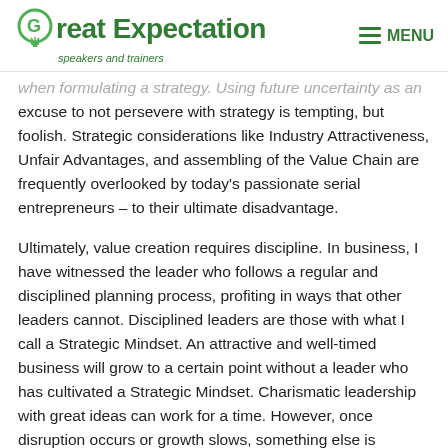Great Expectation speakers and trainers | MENU
when formulating a strategy. Using future uncertainty as an excuse to not persevere with strategy is tempting, but foolish. Strategic considerations like Industry Attractiveness, Unfair Advantages, and assembling of the Value Chain are frequently overlooked by today's passionate serial entrepreneurs – to their ultimate disadvantage.
Ultimately, value creation requires discipline. In business, I have witnessed the leader who follows a regular and disciplined planning process, profiting in ways that other leaders cannot. Disciplined leaders are those with what I call a Strategic Mindset. An attractive and well-timed business will grow to a certain point without a leader who has cultivated a Strategic Mindset. Charismatic leadership with great ideas can work for a time. However, once disruption occurs or growth slows, something else is needed to future-proof a business. That something else is a